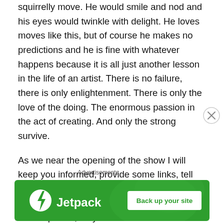squirrelly move. He would smile and nod and his eyes would twinkle with delight. He loves moves like this, but of course he makes no predictions and he is fine with whatever happens because it is all just another lesson in the life of an artist. There is no failure, there is only enlightenment. There is only the love of the doing. The enormous passion in the act of creating. And only the strong survive.
As we near the opening of the show I will keep you informed, provide some links, tell you where, etc – but I will be delivering my entries next week – yes I will be entering at least 2 pieces, maybe 3.
Wish me love and luck, OK?
Advertisements
[Figure (illustration): Jetpack advertisement banner with green background, Jetpack logo with lightning bolt icon on the left, and a 'Back up your site' button on the right]